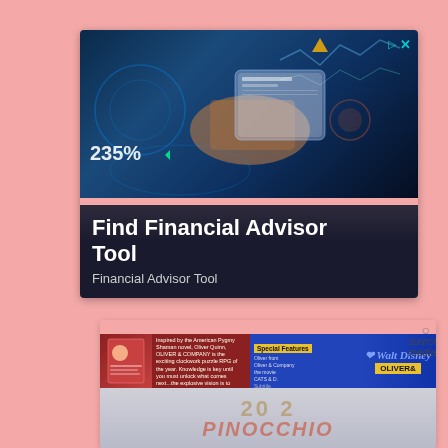[Figure (photo): Financial advisor advertisement banner showing a hand holding a smartphone with holographic financial data displays (235% gain shown), dark blue tech background. Title reads 'Find Financial Advisor Tool' with subtitle 'Financial Advisor Tool'. Has ad play/close badges.]
[Figure (photo): Second advertisement banner showing a Walt Disney 'Oliver & Company' movie/book product with colorful banner, overlaid with a grayed-out Pinocchio 2022 image with X close button and 'source not found for this media' text.]